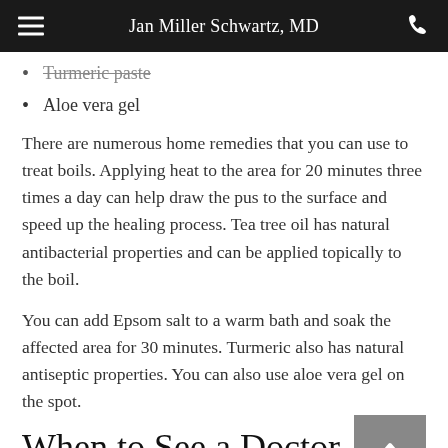Jan Miller Schwartz, MD
Turmeric paste
Aloe vera gel
There are numerous home remedies that you can use to treat boils. Applying heat to the area for 20 minutes three times a day can help draw the pus to the surface and speed up the healing process. Tea tree oil has natural antibacterial properties and can be applied topically to the boil.
You can add Epsom salt to a warm bath and soak the affected area for 30 minutes. Turmeric also has natural antiseptic properties. You can also use aloe vera gel on the spot.
When to See a Doctor
Boils usually go away on their own within a week. However, if the blemish is large, painful, or growing, a doctor should see it. If the person has fever, chills, or feels